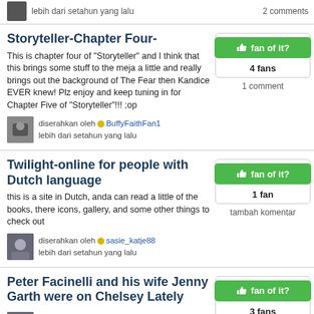lebih dari setahun yang lalu | 2 comments
Storyteller-Chapter Four-
This is chapter four of "Storyteller" and I think that this brings some stuff to the meja a little and really brings out the background of The Fear then Kandice EVER knew! Plz enjoy and keep tuning in for Chapter Five of "Storyteller"!!! ;op
diserahkan oleh BuffyFaithFan1
lebih dari setahun yang lalu
fan of it?
4 fans
1 comment
Twilight-online for people with Dutch language
this is a site in Dutch, anda can read a little of the books, there icons, gallery, and some other things to check out
diserahkan oleh sasie_katje88
lebih dari setahun yang lalu
fan of it?
1 fan
tambah komentar
Peter Facinelli and his wife Jenny Garth were on Chelsey Lately
diserahkan oleh sasie_katje88
lebih dari setahun yang lalu
fan of it?
3 fans
tambah komentar
Jacob and Renesmee's Honeymoon -- Chapter 5
fan of it?